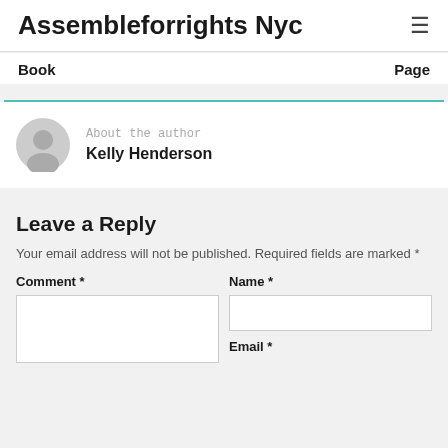Assembleforrights Nyc
Book    Page
About the author
Kelly Henderson
Leave a Reply
Your email address will not be published. Required fields are marked *
Comment *   Name *
Email *